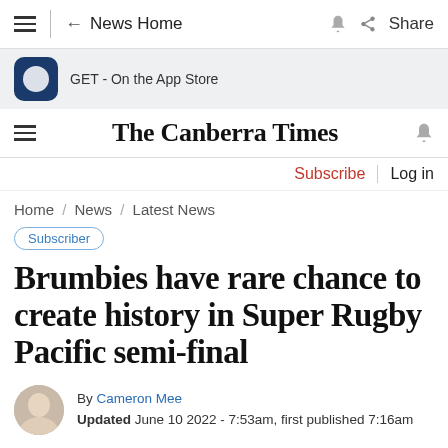← News Home  Share
GET - On the App Store
The Canberra Times
Subscribe  Log in
Home / News / Latest News
Subscriber
Brumbies have rare chance to create history in Super Rugby Pacific semi-final
By Cameron Mee
Updated June 10 2022 - 7:53am, first published 7:16am